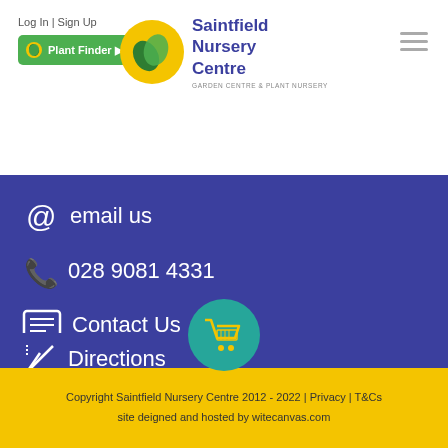Log In | Sign Up | Plant Finder | Saintfield Nursery Centre - Garden Centre & Plant Nursery
@ email us
028 9081 4331
Contact Us
Directions
Copyright Saintfield Nursery Centre 2012 - 2022 | Privacy | T&Cs
site deigned and hosted by witecanvas.com